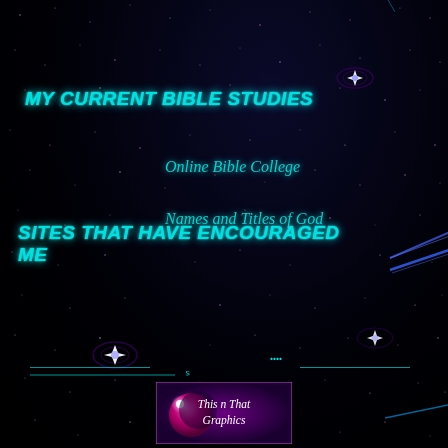MY CURRENT BIBLE STUDIES
Online Bible College
Names and Titles of God
SITES THAT HAVE ENCOURAGED ME
Scripture Typer
Shachah Ministries
This Reading Mama
[Figure (logo): This n That Graphics logo with purple planet/moon graphic on dark background]